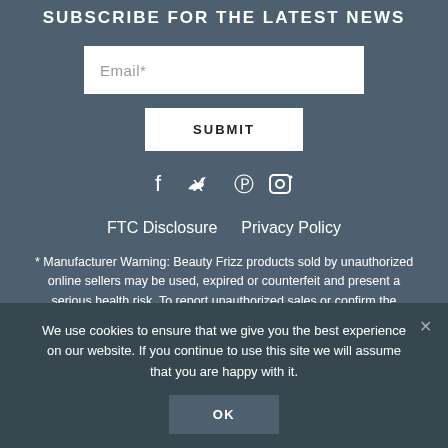SUBSCRIBE FOR THE LATEST NEWS
Email*
SUBMIT
[Figure (infographic): Social media icons: Facebook (f), Twitter (bird/arrow), Pinterest (P), Instagram (camera)]
FTC Disclosure   Privacy Policy
* Manufacturer Warning: Beauty Frizz products sold by unauthorized online sellers may be used, expired or counterfeit and present a serious health risk. To report unauthorized sales or confirm the authenticity of your product, please contact us.
We use cookies to ensure that we give you the best experience on our website. If you continue to use this site we will assume that you are happy with it.
OK